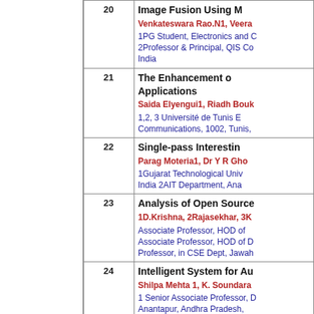| No. | Title / Authors / Affiliation |
| --- | --- |
| 20 | Image Fusion Using M...
Venkateswara Rao.N1, Veera...
1PG Student, Electronics and C...
2Professor & Principal, QIS Co...
India |
| 21 | The Enhancement o... Applications
Saida Elyengui1, Riadh Bouk...
1,2, 3 Université de Tunis E...
Communications, 1002, Tunis, |
| 22 | Single-pass Interestin...
Parag Moteria1, Dr Y R Gho...
1Gujarat Technological Univ...
India 2AIT Department, Ana... |
| 23 | Analysis of Open Source...
1D.Krishna, 2Rajasekhar, 3K...
Associate Professor, HOD of...
Associate Professor, HOD of D...
Professor, in CSE Dept, Jawah... |
| 24 | Intelligent System for Au...
Shilpa Mehta 1, K. Soundara...
1 Senior Associate Professor, D...
Anantapur, Andhra Pradesh,...
Department, Reva ITM, Banga... |
|  | Mining Association Rul... |